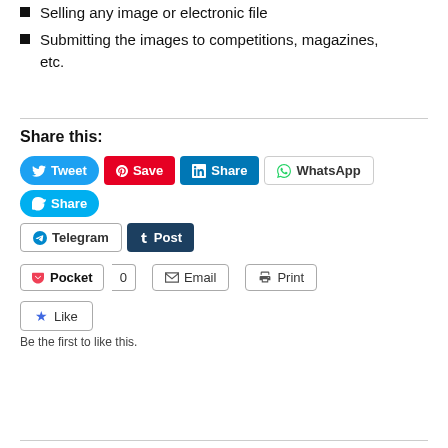Applying for Copyright Registration
Selling any image or electronic file
Submitting the images to competitions, magazines, etc.
Share this:
[Figure (infographic): Social sharing buttons: Tweet, Save, Share (LinkedIn), WhatsApp, Share (Skype), Telegram, Post (Tumblr), Pocket (0), Email, Print, Like button with 'Be the first to like this.' text]